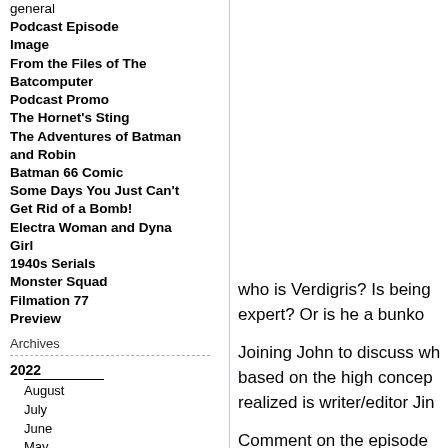general
Podcast Episode
Image
From the Files of The Batcomputer
Podcast Promo
The Hornet's Sting
The Adventures of Batman and Robin
Batman 66 Comic
Some Days You Just Can't Get Rid of a Bomb!
Electra Woman and Dyna Girl
1940s Serials
Monster Squad
Filmation 77
Preview
Archives
2022
August
July
June
May
April
2021
November
August
July
who is Verdigris?  Is being expert?  Or is he a bunko
Joining John to discuss wh based on the high concep realized is writer/editor Jin
Comment on the episode write thebatcavepodcast